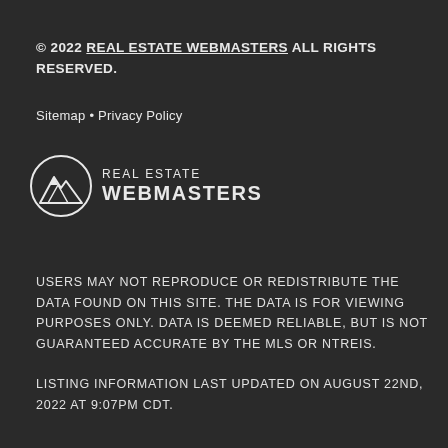© 2022 REAL ESTATE WEBMASTERS ALL RIGHTS RESERVED.
Sitemap • Privacy Policy
[Figure (logo): Real Estate Webmasters logo with mountain icon and text 'REAL ESTATE WEBMASTERS']
USERS MAY NOT REPRODUCE OR REDISTRIBUTE THE DATA FOUND ON THIS SITE. THE DATA IS FOR VIEWING PURPOSES ONLY. DATA IS DEEMED RELIABLE, BUT IS NOT GUARANTEED ACCURATE BY THE MLS OR NTREIS.
LISTING INFORMATION LAST UPDATED ON AUGUST 22ND, 2022 AT 9:07PM CDT.